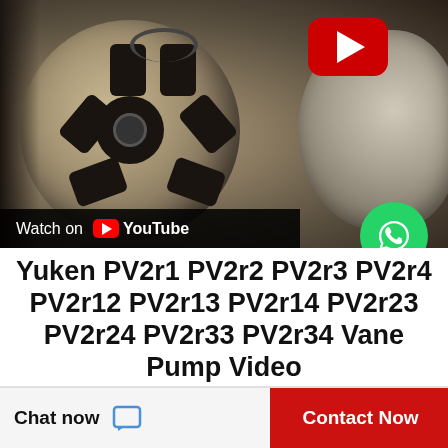[Figure (screenshot): YouTube video thumbnail showing disassembled Yuken vane pump components — a circular rotor with holes on the left and a pump casing on the right. A red YouTube play button is visible in the upper right. A 'Watch on YouTube' bar appears at the bottom left of the thumbnail. A green WhatsApp bubble is overlaid at the lower right of the thumbnail.]
Yuken PV2r1 PV2r2 PV2r3 PV2r4 PV2r12 PV2r13 PV2r14 PV2r23 PV2r24 PV2r33 PV2r34 Vane Pump Video
Chat now
Contact Now